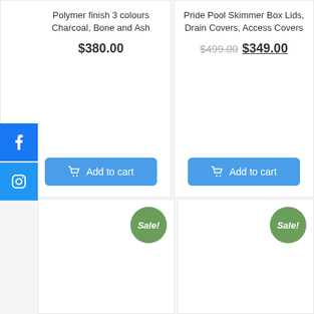Polymer finish 3 colours Charcoal, Bone and Ash
$380.00
Add to cart
Pride Pool Skimmer Box Lids, Drain Covers, Access Covers
$499.00 $349.00
Add to cart
[Figure (illustration): Facebook social share button (blue square with white 'f' logo)]
[Figure (illustration): Instagram social share button (blue square with white Instagram camera icon)]
Sale!
Sale!